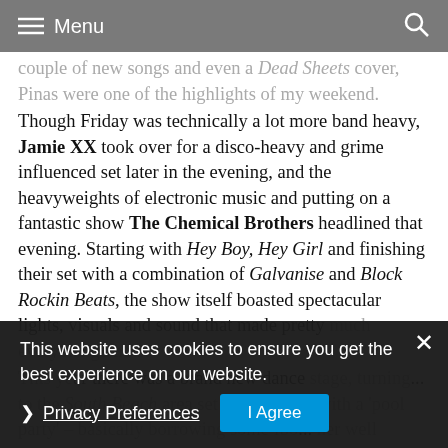Menu
couple of new songs and even a Dead Sheets cover, Pinas were one of the highlights of my weekend.
Though Friday was technically a lot more band heavy, Jamie XX took over for a disco-heavy and grime influenced set later in the evening, and the heavyweights of electronic music and putting on a fantastic show The Chemical Brothers headlined that evening. Starting with Hey Boy, Hey Girl and finishing their set with a combination of Galvanise and Block Rockin Beats, the show itself boasted spectacular lights, visuals and sound that made pretty much everyone go nuts.
This ye... dance stage, turning... to the South Beach area set up complete with a 'pool party' – basically borrowing some Ibo... her well known Spanish turn-up. Though the... not pretty dirty after day one, the area itself was a... and saw the likes of Dan Deacon and John Talabot tear it up on the Fri...
This website uses cookies to ensure you get the best experience on our website.
Privacy Preferences
I Agree